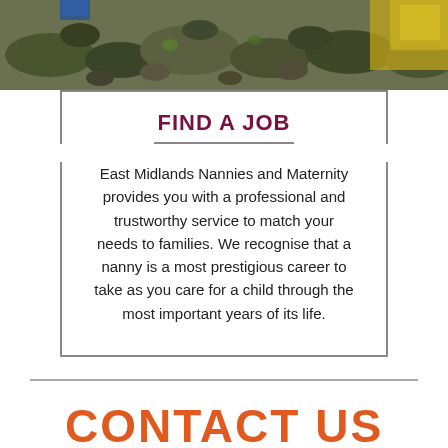[Figure (photo): Outdoor photo strip showing rocks/rubble and yellow machinery in background]
FIND A JOB
East Midlands Nannies and Maternity provides you with a professional and trustworthy service to match your needs to families. We recognise that a nanny is a most prestigious career to take as you care for a child through the most important years of its life.
CONTACT US
[Figure (illustration): Orange telephone/phone handset icon]